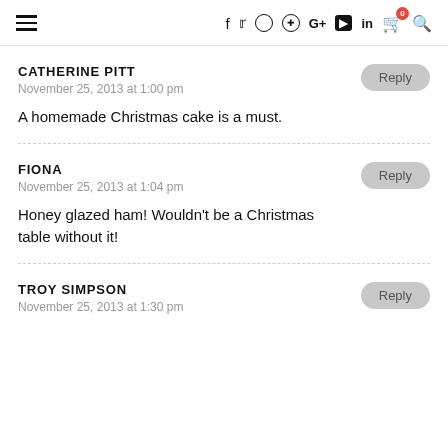≡  f  y  ○  ℗  G+  ▶  in  🛒 0  🔍
CATHERINE PITT
November 25, 2013 at 1:00 pm
A homemade Christmas cake is a must.
FIONA
November 25, 2013 at 1:04 pm
Honey glazed ham! Wouldn't be a Christmas table without it!
TROY SIMPSON
November 25, 2013 at 1:30 pm